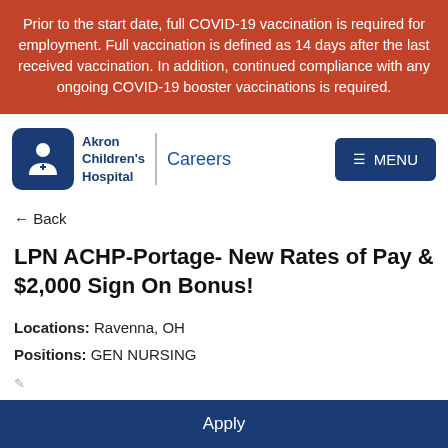Prior to the start date, full COVID-19 vaccination is required for employment. Full vaccination is defined as 14 days after the last received vaccination. In addition, continued compliance with any ongoing COVID-19 booster vaccinations is required.
[Figure (logo): Akron Children's Hospital Careers logo with blue icon and menu button]
← Back
LPN ACHP-Portage- New Rates of Pay & $2,000 Sign On Bonus!
Locations: Ravenna, OH
Positions: GEN NURSING
Apply